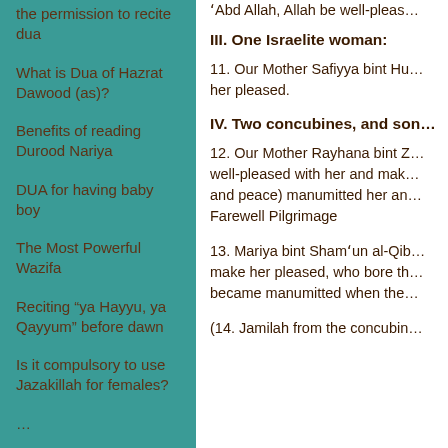the permission to recite dua
What is Dua of Hazrat Dawood (as)?
Benefits of reading Durood Nariya
DUA for having baby boy
The Most Powerful Wazifa
Reciting “ya Hayyu, ya Qayyum” before dawn
Is it compulsory to use Jazakillah for females?
ʻAbd Allah, Allah be well-pleas…
III. One Israelite woman:
11. Our Mother Safiyya bint Hu… her pleased.
IV. Two concubines, and son…
12. Our Mother Rayhana bint Z… well-pleased with her and mak… and peace) manumitted her an… Farewell Pilgrimage
13. Mariya bint Shamʻun al-Qib… make her pleased, who bore th… became manumitted when the…
(14. Jamilah from the concubin…